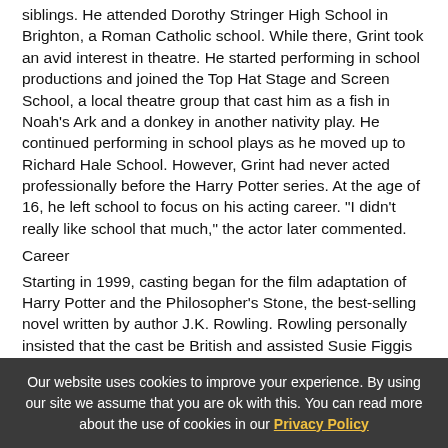siblings. He attended Dorothy Stringer High School in Brighton, a Roman Catholic school. While there, Grint took an avid interest in theatre. He started performing in school productions and joined the Top Hat Stage and Screen School, a local theatre group that cast him as a fish in Noah's Ark and a donkey in another nativity play. He continued performing in school plays as he moved up to Richard Hale School. However, Grint had never acted professionally before the Harry Potter series. At the age of 16, he left school to focus on his acting career. "I didn't really like school that much," the actor later commented.
Career
Starting in 1999, casting began for the film adaptation of Harry Potter and the Philosopher's Stone, the best-selling novel written by author J.K. Rowling. Rowling personally insisted that the cast be British and assisted Susie Figgis and director Chris Columbus in casting the roles. Grint chose to try out for the part of protagonist Ron Weasley, one of Harry Potter's best friends at Hogwarts, because he had ginger-coloured hair, and was a fan of the book series. Having seen a Newsround report about the open casting...
Our website uses cookies to improve your experience. By using our site we assume that you are ok with this. You can read more about the use of cookies in our Privacy Policy